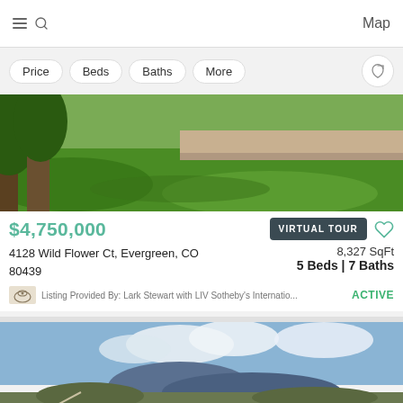Map
Price
Beds
Baths
More
[Figure (photo): Exterior lawn/garden area of a luxury home in Evergreen, CO showing green grass, trees, and stone retaining walls]
$4,750,000
VIRTUAL TOUR
4128 Wild Flower Ct, Evergreen, CO 80439
8,327 SqFt
5 Beds | 7 Baths
Listing Provided By: Lark Stewart with LIV Sotheby's Internatio...
ACTIVE
[Figure (photo): Aerial landscape view of mountain terrain near Evergreen, CO with blue sky and clouds]